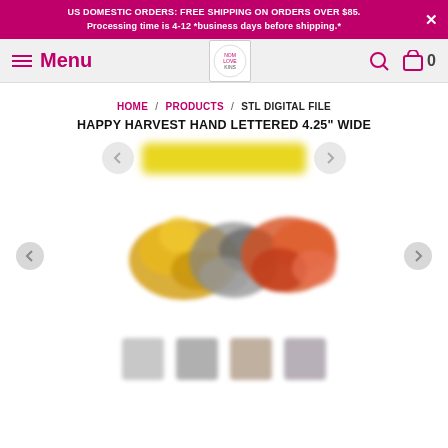US DOMESTIC ORDERS: FREE SHIPPING ON ORDERS OVER $85. Processing time is 4-12 *business days before shipping.*
Menu
HOME / PRODUCTS / STL DIGITAL FILE
HAPPY HARVEST HAND LETTERED 4.25" WIDE
[Figure (photo): Product image carousel showing Happy Harvest Hand Lettered STL digital file, with left/right navigation arrows and a blurred center button. Main product image shows colorful letter/harvest shapes in yellow and orange-red tones on grey background. Four thumbnail images shown below.]